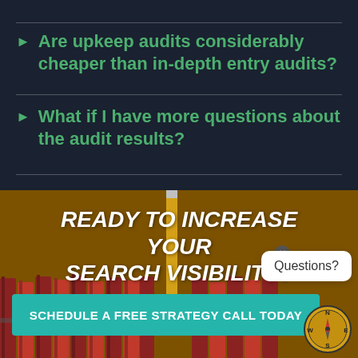Are upkeep audits considerably cheaper than in-depth entry audits?
What if I have more questions about the audit results?
[Figure (infographic): Dark navy background with two FAQ list items in green bold text with arrow bullets, separated by horizontal dividers. Below is a brown/amber background section with illustrated pencils and books, bold italic white text reading READY TO INCREASE YOUR SEARCH VISIBILITY?, a teal CTA button, a chat bubble with Questions? text, and a compass logo in the bottom right.]
READY TO INCREASE YOUR SEARCH VISIBILITY?
SCHEDULE A FREE STRATEGY CALL TODAY
Questions?